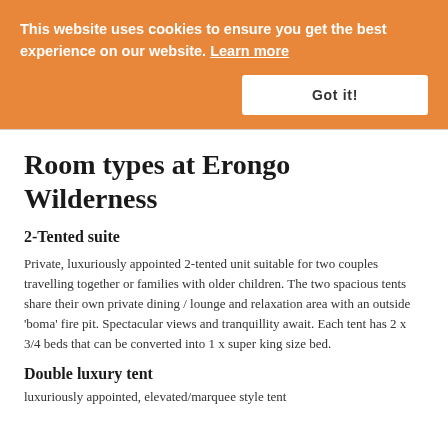This website uses cookies to ensure you get the best experience on our website. Learn more
Got it!
Room types at Erongo Wilderness
2-Tented suite
Private, luxuriously appointed 2-tented unit suitable for two couples travelling together or families with older children. The two spacious tents share their own private dining / lounge and relaxation area with an outside 'boma' fire pit. Spectacular views and tranquillity await. Each tent has 2 x 3/4 beds that can be converted into 1 x super king size bed.
Double luxury tent
luxuriously appointed, elevated/marquee style tent